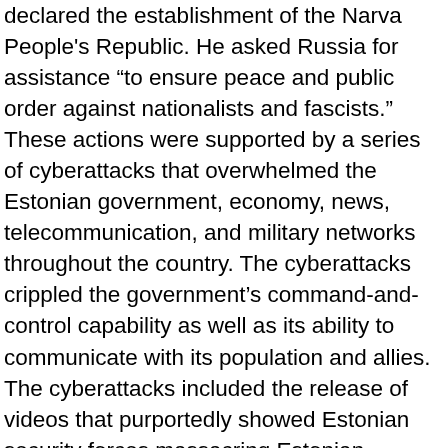declared the establishment of the Narva People's Republic. He asked Russia for assistance “to ensure peace and public order against nationalists and fascists.” These actions were supported by a series of cyberattacks that overwhelmed the Estonian government, economy, news, telecommunication, and military networks throughout the country. The cyberattacks crippled the government’s command-and-control capability as well as its ability to communicate with its population and allies. The cyberattacks included the release of videos that purportedly showed Estonian security forces massacring Estonian residents of Russian descent. These products proliferated across the internet via bots, stoking anti-Estonian and anti-U.S. opinion among Russian-sympathetic and nonaligned populations across Europe. The Estonian government declared the establishment of the Narva People’s Republic illegal and demanded the return of control to elected officials.